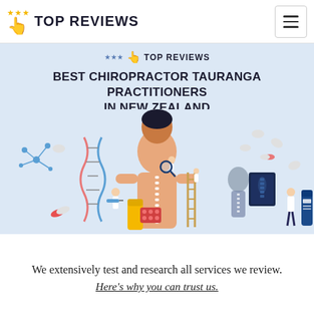TOP REVIEWS
[Figure (illustration): Chiropractor banner illustration showing a human figure with spine highlighted, surrounded by doctors, DNA helix, medical pills, syringes, x-ray image, and medicine bottles on a light blue background. Text: TOP REVIEWS / BEST CHIROPRACTOR TAURANGA PRACTITIONERS IN NEW ZEALAND]
We extensively test and research all services we review.
Here's why you can trust us.